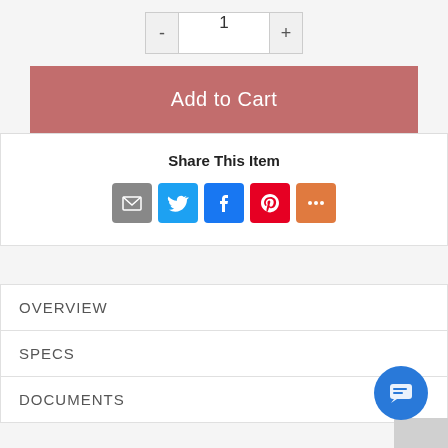[Figure (other): Quantity selector with minus button, input field showing 1, and plus button]
Add to Cart
Share This Item
[Figure (infographic): Row of social share icons: Email (gray), Twitter (blue), Facebook (blue), Pinterest (red), More (orange)]
OVERVIEW
SPECS
DOCUMENTS